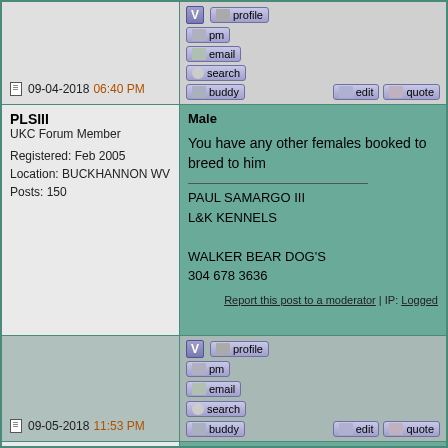09-04-2018 06:40 PM
[Figure (screenshot): Forum action buttons: profile, pm, email, search, buddy, edit, quote]
PLSIII
UKC Forum Member
Registered: Feb 2005
Location: BUCKHANNON WV
Posts: 150
Male

You have any other females booked to breed to him

__________________
PAUL SAMARGO III
L&K KENNELS

WALKER BEAR DOG'S
304 678 3636

Report this post to a moderator | IP: Logged
09-05-2018 11:53 PM
[Figure (screenshot): Forum action buttons: profile, pm, email, search, buddy, edit, quote]
Treesinging
UKC Forum Member
Registered: Jan 2012
We have a Savage female coming soon